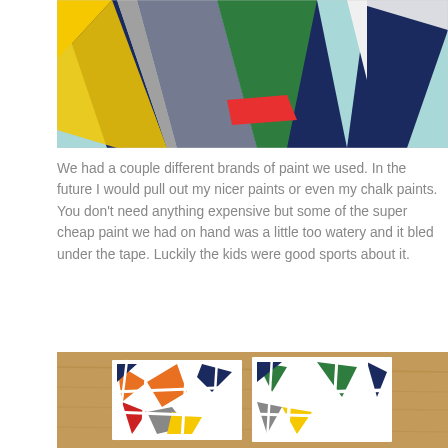[Figure (photo): Painted canvas pieces on a light blue/teal surface, showing colorful geometric shapes separated by blue painter's tape. Colors include yellow, gray, green, red, white, and navy blue triangles and shapes.]
We had a couple different brands of paint we used. In the future I would pull out my nicer paints or even my chalk paints. You don't need anything expensive but some of the super cheap paint we had on hand was a little too watery and it bled under the tape. Luckily the kids were good sports about it.
[Figure (photo): Two finished canvas paintings on a wooden table surface. Left canvas has orange, red, gray, yellow, navy geometric triangles separated by white tape lines. Right canvas has green, yellow, gray, navy geometric triangles separated by white tape lines.]